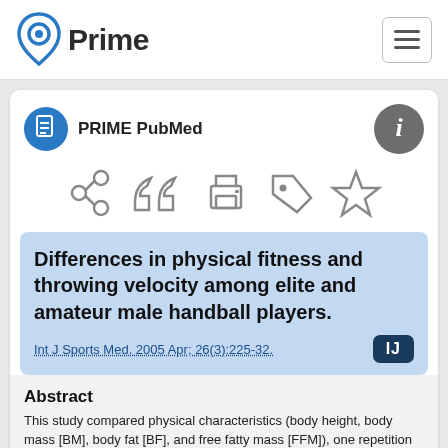Prime PubMed
PRIME PubMed
Differences in physical fitness and throwing velocity among elite and amateur male handball players.
Int J Sports Med. 2005 Apr; 26(3):225-32.
Abstract
This study compared physical characteristics (body height, body mass [BM], body fat [BF], and free fatty mass [FFM]), one repetition maximum bench-press (1RM (BP)), jumping explosive strength (VJ), handball throwing velocity, power-load relationship of the leg and arm extensor muscles. E…